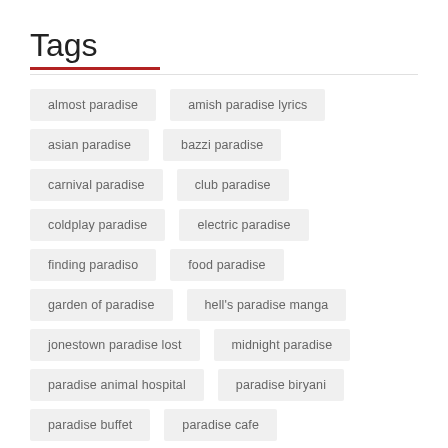Tags
almost paradise
amish paradise lyrics
asian paradise
bazzi paradise
carnival paradise
club paradise
coldplay paradise
electric paradise
finding paradiso
food paradise
garden of paradise
hell's paradise manga
jonestown paradise lost
midnight paradise
paradise animal hospital
paradise biryani
paradise buffet
paradise cafe